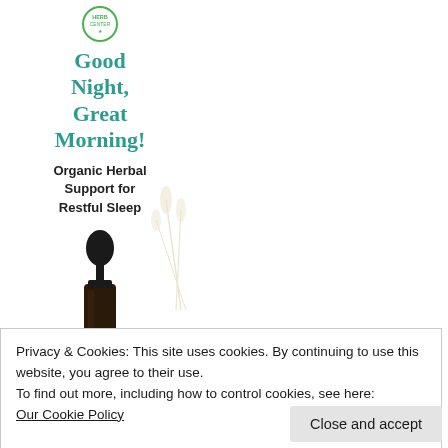[Figure (illustration): Product advertisement panel showing a logo at top, large green text reading 'Good Night, Great Morning!', bold subtitle 'Organic Herbal Support for Restful Sleep', botanical stem illustrations in background, and a dropper bottle at the bottom.]
Privacy & Cookies: This site uses cookies. By continuing to use this website, you agree to their use.
To find out more, including how to control cookies, see here:
Our Cookie Policy
Close and accept